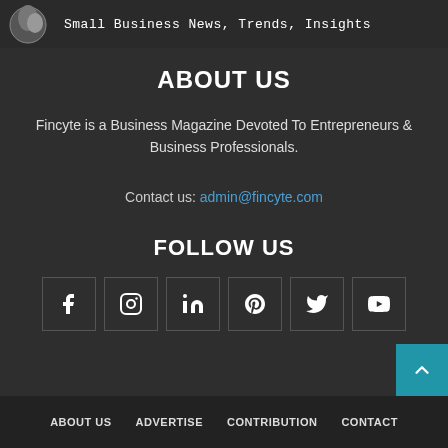Small Business News, Trends, Insights
ABOUT US
Fincyte is a Business Magazine Devoted To Entrepreneurs & Business Professionals.
Contact us: admin@fincyte.com
FOLLOW US
[Figure (infographic): Six social media icon boxes: Facebook, Instagram, LinkedIn, Pinterest, Twitter, YouTube]
ABOUT US  ADVERTISE  CONTRIBUTION  CONTACT